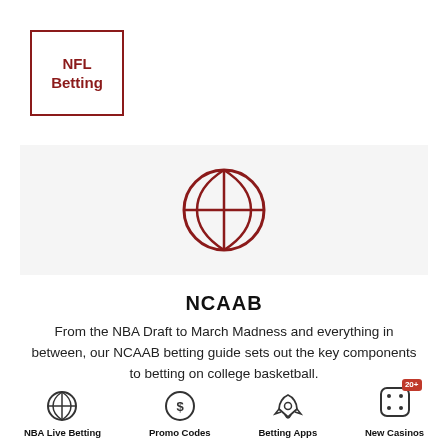NFL Betting
[Figure (illustration): Large basketball icon in dark red outline style on light gray banner background]
NCAAB
From the NBA Draft to March Madness and everything in between, our NCAAB betting guide sets out the key components to betting on college basketball.
[Figure (illustration): Footer navigation icons: NBA Live Betting (basketball icon), Promo Codes (dollar coin icon), Betting Apps (rocket icon), New Casinos (dice icon with 20+ badge)]